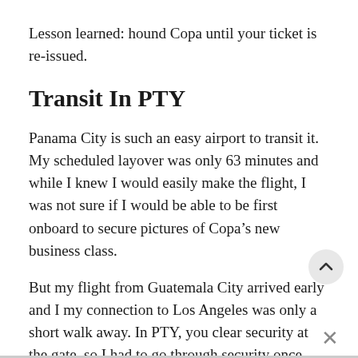Lesson learned: hound Copa until your ticket is re-issued.
Transit In PTY
Panama City is such an easy airport to transit it. My scheduled layover was only 63 minutes and while I knew I would easily make the flight, I was not sure if I would be able to be first onboard to secure pictures of Copa’s new business class.
But my flight from Guatemala City arrived early and I my connection to Los Angeles was only a short walk away. In PTY, you clear security at the gate, so I had to go through security once more and even
remove my shoes since this was a USA-bound flight.